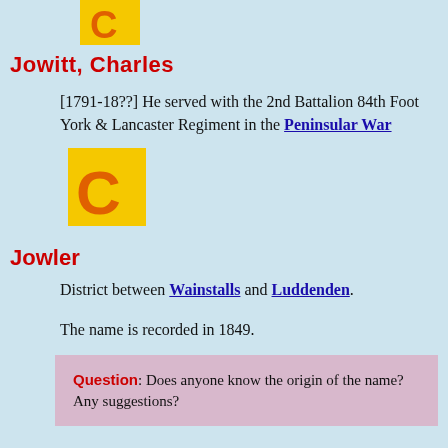[Figure (logo): Yellow square icon with orange letter C, top of page]
Jowitt, Charles
[1791-18??] He served with the 2nd Battalion 84th Foot York & Lancaster Regiment in the Peninsular War
[Figure (logo): Yellow square icon with orange letter C, mid page]
Jowler
District between Wainstalls and Luddenden.
The name is recorded in 1849.
Question: Does anyone know the origin of the name? Any suggestions?
[Figure (screenshot): Advertisement banner for Newspapers.com at the bottom of the page]